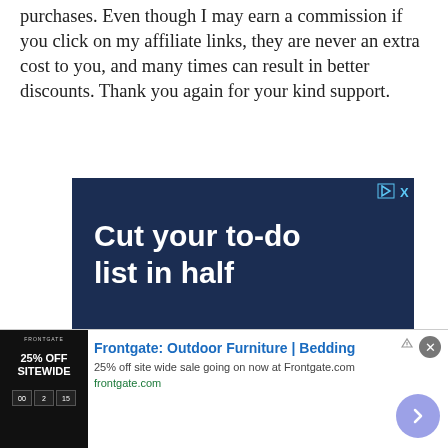purchases. Even though I may earn a commission if you click on my affiliate links, they are never an extra cost to you, and many times can result in better discounts. Thank you again for your kind support.
[Figure (screenshot): Advertisement banner with dark navy blue background showing bold white text 'Cut your to-do list in half' and 'THE ROOM' branding at the bottom right, with a play and close icon at top right.]
[Figure (screenshot): Bottom banner advertisement for Frontgate: Outdoor Furniture | Bedding. Shows store image on left with '25% OFF SITEWIDE' text. Title says 'Frontgate: Outdoor Furniture | Bedding', description '25% off site wide sale going on now at Frontgate.com', URL 'frontgate.com'. Has a close button and arrow button on the right.]